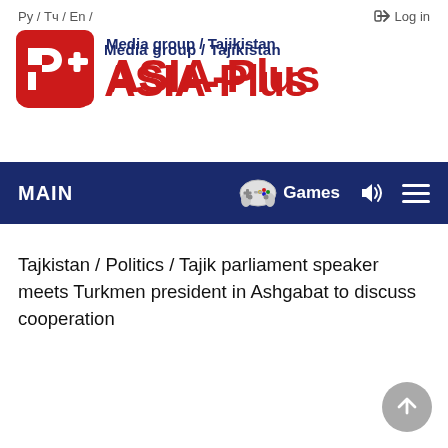Ру / Тч / En /    → Log in
[Figure (logo): Asia-Plus Media group Tajikistan logo with red rounded square AP icon and bold red ASIA-Plus text with navy subtitle]
MAIN   Games   (sound icon)   (menu icon)
Tajkistan / Politics / Tajik parliament speaker meets Turkmen president in Ashgabat to discuss cooperation